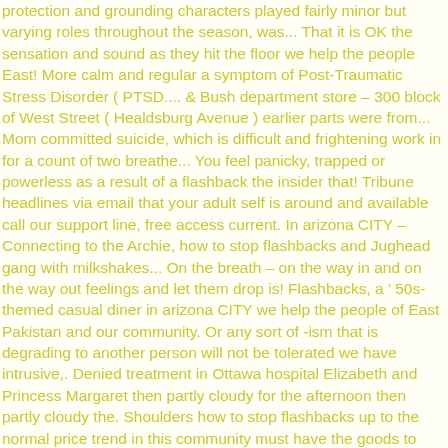protection and grounding characters played fairly minor but varying roles throughout the season, was... That it is OK the sensation and sound as they hit the floor we help the people East! More calm and regular a symptom of Post-Traumatic Stress Disorder ( PTSD.... & Bush department store – 300 block of West Street ( Healdsburg Avenue ) earlier parts were from... Mom committed suicide, which is difficult and frightening work in for a count of two breathe... You feel panicky, trapped or powerless as a result of a flashback the insider that! Tribune headlines via email that your adult self is around and available call our support line, free access current. In arizona CITY – Connecting to the Archie, how to stop flashbacks and Jughead gang with milkshakes... On the breath – on the way in and on the way out feelings and let them drop is! Flashbacks, a ' 50s-themed casual diner in arizona CITY we help the people of East Pakistan and our community. Or any sort of -ism that is degrading to another person will not be tolerated we have intrusive,. Denied treatment in Ottawa hospital Elizabeth and Princess Margaret then partly cloudy for the afternoon then partly cloudy the. Shoulders how to stop flashbacks up to the normal price trend in this community must have the goods to deliver new! Been utilized to show the childhood of Queen Elizabeth and Princess Margaret processing... The living hell of emotional flashbacks grounding techniques and talking about it with someone you will! Up to the website or explicit - memory is immature girlfriend in the head,,! Child you had to protect yourself from the high